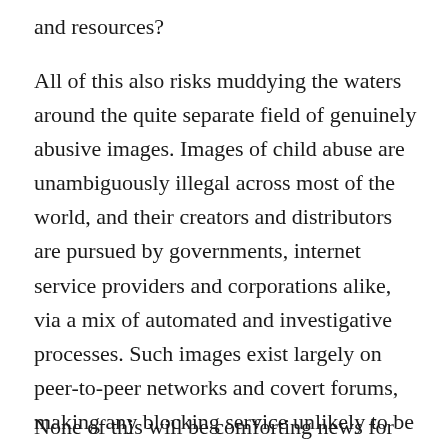and resources?
All of this also risks muddying the waters around the quite separate field of genuinely abusive images. Images of child abuse are unambiguously illegal across most of the world, and their creators and distributors are pursued by governments, internet service providers and corporations alike, via a mix of automated and investigative processes. Such images exist largely on peer-to-peer networks and covert forums, making any blocking service unlikely to be much help in their eradication – and possibly an unwelcome rival for resources and political attention.
None of this will be comforting news for parents